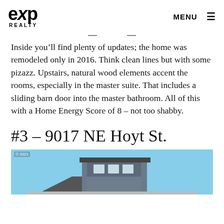eXp REALTY | MENU
Inside you’ll find plenty of updates; the home was remodeled only in 2016. Think clean lines but with some pizazz. Upstairs, natural wood elements accent the rooms, especially in the master suite. That includes a sliding barn door into the master bathroom. All of this with a Home Energy Score of 8 – not too shabby.
#3 – 9017 NE Hoyt St.
[Figure (photo): Exterior photo of a modern two-story house with gray siding and large windows against a blue sky. Copyright 2021.]